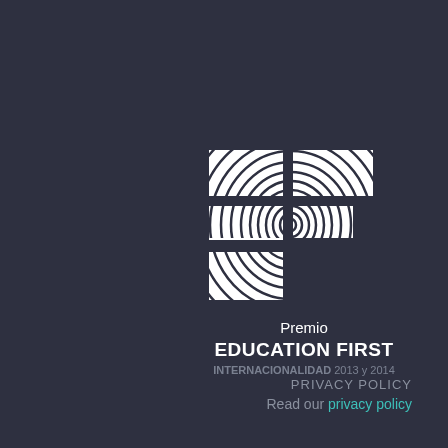[Figure (logo): EF Education First logo — stylized letters E and F made of concentric curved lines creating an optical illusion / fingerprint pattern, in white on dark background]
Premio EDUCATION FIRST INTERNACIONALIDAD 2013 y 2014
PRIVACY POLICY
Read our privacy policy